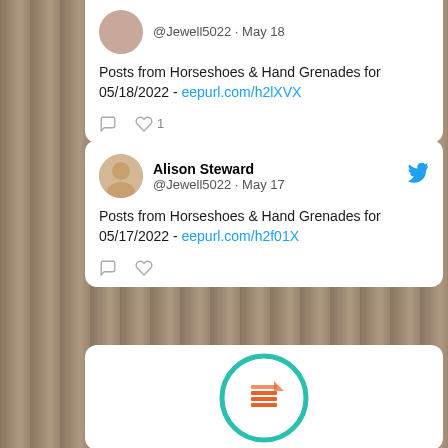@Jewell5022 · May 18
Posts from Horseshoes & Hand Grenades for 05/18/2022 - eepurl.com/h2lXVX
Alison Steward @Jewell5022 · May 17
Posts from Horseshoes & Hand Grenades for 05/17/2022 - eepurl.com/h2f01X
[Figure (logo): Circular logo with teal border and orange layered pages icon in center]